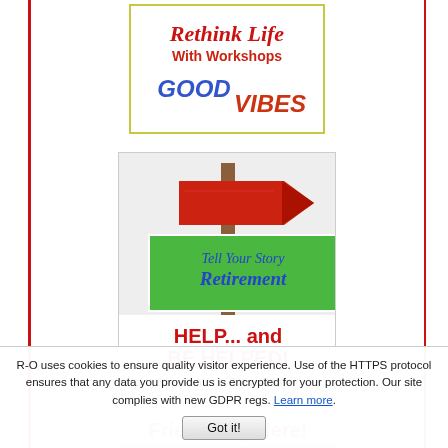[Figure (illustration): Promotional banner: 'Rethink Life With Workshops' in red italic text with 'GOOD VIBES' in blue and red styled letters below, inside a yellow-green border box.]
[Figure (illustration): Retirement community banner with a red arrow sign on a pole, green sign reading 'Tell Your Story Retirement' in blue italic, and below 'HELP... and BE HELPED! Share Your Story Here!' in red and black bold text.]
[Figure (illustration): Partially visible banner starting with 'Friendship Here!' in pink/magenta bold text.]
R-O uses cookies to ensure quality visitor experience. Use of the HTTPS protocol ensures that any data you provide us is encrypted for your protection. Our site complies with new GDPR regs. Learn more.